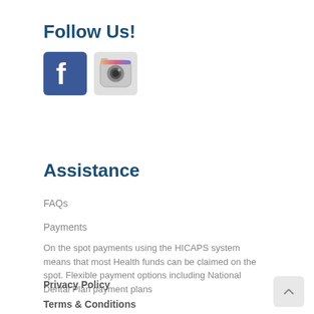Follow Us!
[Figure (logo): Facebook and Instagram social media icons side by side]
Assistance
FAQs
Payments
On the spot payments using the HICAPS system means that most Health funds can be claimed on the spot. Flexible payment options including National Dental Plan payment plans
Privacy Policy
Terms & Conditions